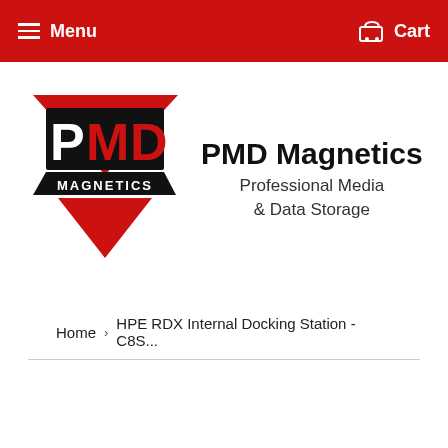Menu  Cart
[Figure (logo): PMD Magnetics logo with red triangles and black PMD letters, with MAGNETICS text in white on black banner]
PMD Magnetics
Professional Media & Data Storage
Home › HPE RDX Internal Docking Station - C8S...